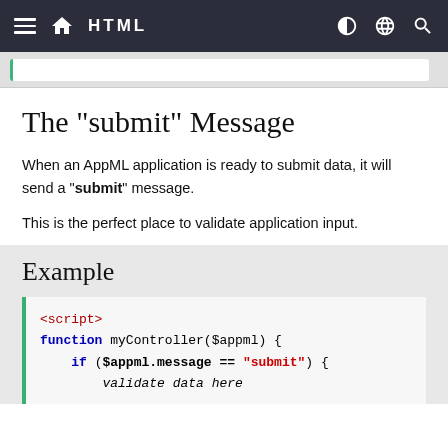HTML
The "submit" Message
When an AppML application is ready to submit data, it will send a "submit" message.
This is the perfect place to validate application input.
Example
<script>
function myController($appml) {
    if ($appml.message == "submit") {
        validate data here